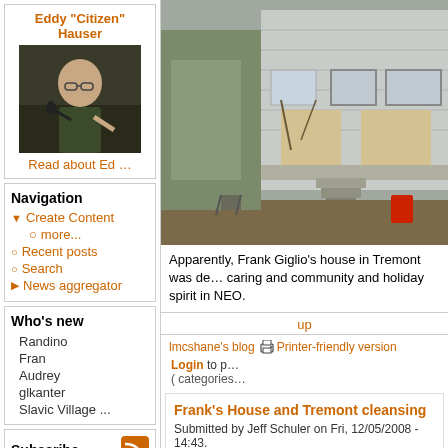Eddy "Citizen" Hauser
[Figure (photo): Photo of Eddy Hauser speaking at a podium with microphone]
Read about Ed …
Navigation
Create Content
more...
Recent posts
Search
News aggregator
Who's new
Randino
Fran
Audrey
glkanter
Slavic Village ...
Subscribe
[Figure (photo): Photograph of Frank Giglio's house in Tremont - abandoned/damaged house exterior with steps and overgrown yard]
Apparently, Frank Giglio's house in Tremont was de… caring and community and holiday spirit in NEO.
up
lmcshane's blog
Printer-friendly version
Login to p… ( categories…
Frank's House and Tremont cleansing
Submitted by Jeff Schuler on Fri, 12/05/2008 - 14:43.
See Tremonter for some of the latest on Frank and h…